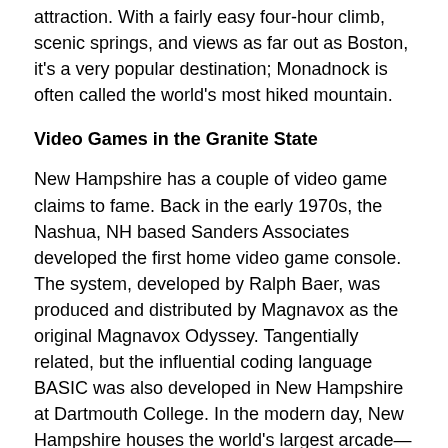attraction. With a fairly easy four-hour climb, scenic springs, and views as far out as Boston, it's a very popular destination; Monadnock is often called the world's most hiked mountain.
Video Games in the Granite State
New Hampshire has a couple of video game claims to fame. Back in the early 1970s, the Nashua, NH based Sanders Associates developed the first home video game console. The system, developed by Ralph Baer, was produced and distributed by Magnavox as the original Magnavox Odyssey. Tangentially related, but the influential coding language BASIC was also developed in New Hampshire at Dartmouth College. In the modern day, New Hampshire houses the world's largest arcade—Funspot Family Fun Center—which houses over 300 classic arcade machines. Funspot has a section designated as its "American Classic Arcade Museum" in which they have a rotating selection of 180 machines usable at any one time.